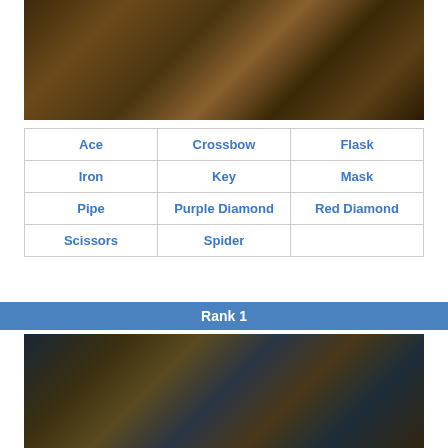[Figure (screenshot): Hidden object game scene — cluttered tabletop with treasure chests, crossbow, artifacts, gems, and various objects]
| Ace | Crossbow | Flask |
| Iron | Key | Mask |
| Pipe | Purple Diamond | Red Diamond |
| Scissors | Spider |  |
Rank 1
[Figure (screenshot): Hidden object game scene — stone dungeon room with a golden mask face, scrolls, wooden chest, and a dark doorway. Overlay shows a TOP button with Japanese characters.]